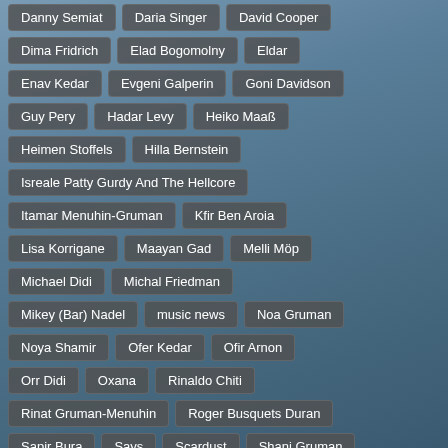Danny Semiat
Daria Singer
David Cooper
Dima Fridrich
Elad Bogomolny
Eldar
Enav Kedar
Evgeni Galperin
Goni Davidson
Guy Pery
Hadar Levy
Heiko Maaß
Heimen Stoffels
Hilla Bernstein
Isreale Patty Gurdy And The Hellcore
Itamar Menuhin-Gruman
Kfir Ben Aroia
Lisa Korrigane
Maayan Gad
Melli Möp
Michael Didi
Michal Friedman
Mikey (Bar) Nadel
music news
Noa Gruman
Noya Shamir
Ofer Kedar
Ofir Arnon
Orr Didi
Oxana
Rinaldo Chiti
Rinat Gruman-Menuhin
Roger Busquets Duran
Sapir Bura
Says
Scardust
Shani Gruman